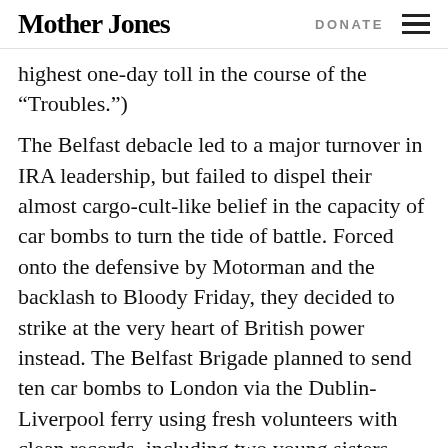Mother Jones | DONATE
highest one-day toll in the course of the “Troubles.”)
The Belfast debacle led to a major turnover in IRA leadership, but failed to dispel their almost cargo-cult-like belief in the capacity of car bombs to turn the tide of battle. Forced onto the defensive by Motorman and the backlash to Bloody Friday, they decided to strike at the very heart of British power instead. The Belfast Brigade planned to send ten car bombs to London via the Dublin-Liverpool ferry using fresh volunteers with clean records, including two young sisters, Marion and Dolours Price. Snags arose and only four cars arrived in London; one of these was detonated in front of the Old Bailey, another in the center of Whitehall, close to the